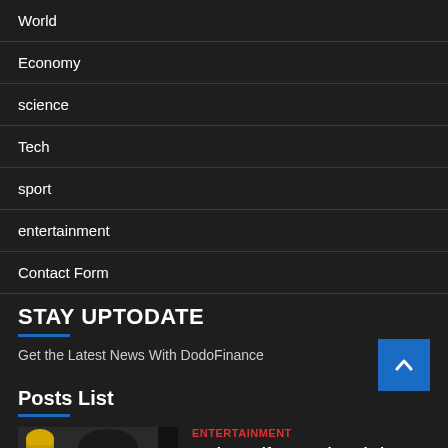World
Economy
science
Tech
sport
entertainment
Contact Form
STAY UPTODATE
Get the Latest News With DodoFinance
Posts List
ENTERTAINMENT
Taylor Swift wanted a role in